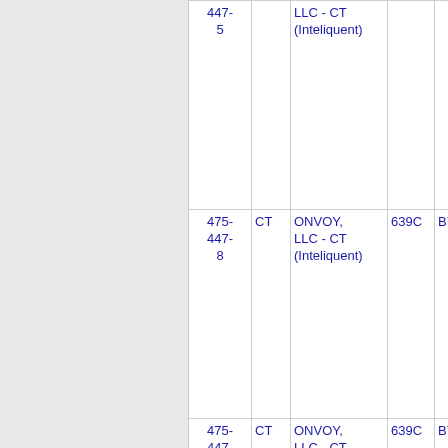| Number | State | Company | ZIP | City |
| --- | --- | --- | --- | --- |
| 447-5 | CT | ONVOY, LLC - CT (Inteliquent) | 639C | BYRAM |
| 475-447-8 | CT | ONVOY, LLC - CT (Inteliquent) | 639C | BYRAM |
| 475-447- | CT | ONVOY, LLC - CT | 639C | BYRAM |